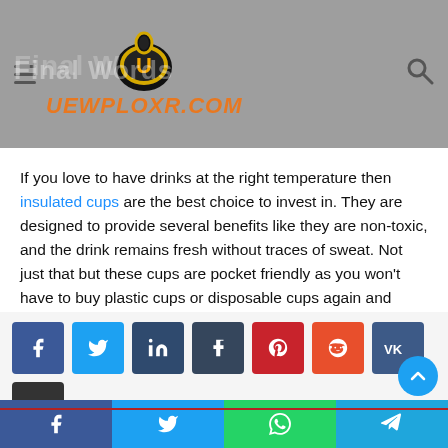UEWPLOXR.COM — Final Words
If you love to have drinks at the right temperature then insulated cups are the best choice to invest in. They are designed to provide several benefits like they are non-toxic, and the drink remains fresh without traces of sweat. Not just that but these cups are pocket friendly as you won't have to buy plastic cups or disposable cups again and again. This is how you can also save the environment from plastic pollution.
[Figure (infographic): Row of social sharing buttons: Facebook, Twitter, LinkedIn, Tumblr, Pinterest, Reddit, VK, Email, and a second row with a dark button. A cyan scroll-to-top circular button appears on the right.]
Mobile social share bar: Facebook, Twitter, WhatsApp, Telegram